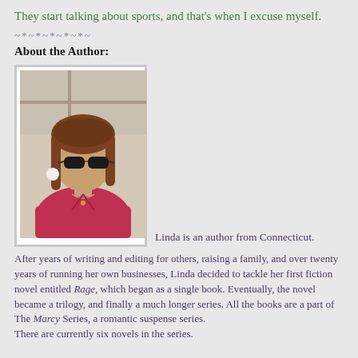They start talking about sports, and that's when I excuse myself.
~*~*~*~*~*~
About the Author:
[Figure (photo): Author photo: woman with brown hair and sunglasses wearing a red top, with white frame border]
Linda is an author from Connecticut.
After years of writing and editing for others, raising a family, and over twenty years of running her own businesses, Linda decided to tackle her first fiction novel entitled Rage, which began as a single book. Eventually, the novel became a trilogy, and finally a much longer series. All the books are a part of The Marcy Series, a romantic suspense series.
There are currently six novels in the series.